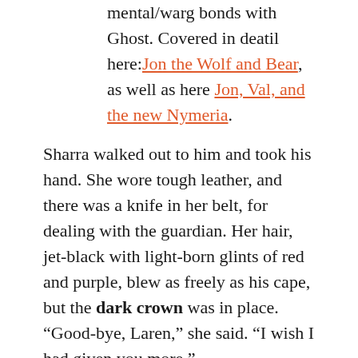mental/warg bonds with Ghost. Covered in deatil here: Jon the Wolf and Bear, as well as here Jon, Val, and the new Nymeria.
Sharra walked out to him and took his hand. She wore tough leather, and there was a knife in her belt, for dealing with the guardian. Her hair, jet-black with light-born glints of red and purple, blew as freely as his cape, but the dark crown was in place. “Good-bye, Laren,” she said. “I wish I had given you more.”
“You have given me enough. In all the centuries that come, in all the sun-cycles that lie ahead, I will remember. I shall measure time by you, Sharra. When the sun rises one day and its color is blue fire, I will look at it and say, ‘Yes, this is the first blue sun after Sharra came to me.’ ”